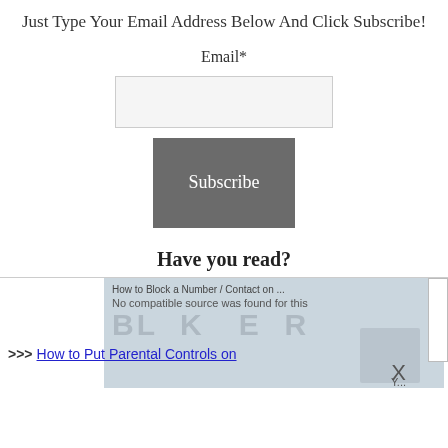Just Type Your Email Address Below And Click Subscribe!
Email*
[Figure (other): Email input text field, light gray background]
[Figure (other): Gray Subscribe button]
Have you read?
[Figure (screenshot): Video player overlay showing 'How to Block a Number / Contact on ...' with 'No compatible source was found for this' message, partially visible background image, close X button, and scroll bar on right]
>>> How to Put Parental Controls on